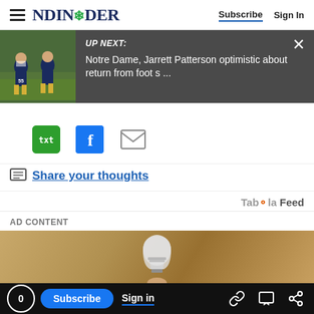NDINSiDER — Subscribe | Sign In
[Figure (screenshot): Up Next banner: football players photo thumbnail with text 'UP NEXT: Notre Dame, Jarrett Patterson optimistic about return from foot s ...' on dark background with X close button]
[Figure (infographic): Share icons: txt (green), Facebook (blue f), mail (grey envelope)]
Share your thoughts
Taboola Feed
AD CONTENT
[Figure (photo): Ad content image: hand holding a light bulb against a tan/brown background]
0  Subscribe  Sign in